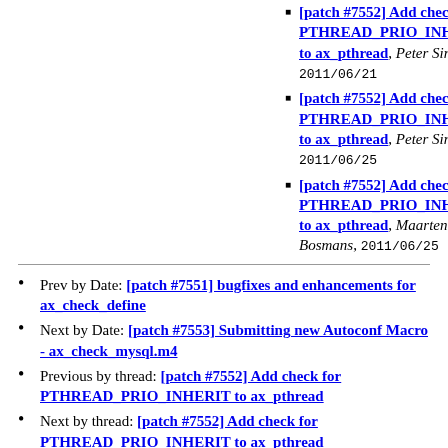[patch #7552] Add check for PTHREAD_PRIO_INHERIT to ax_pthread, Peter Simons, 2011/06/21
[patch #7552] Add check for PTHREAD_PRIO_INHERIT to ax_pthread, Peter Simons, 2011/06/25
[patch #7552] Add check for PTHREAD_PRIO_INHERIT to ax_pthread, Maarten Bosmans, 2011/06/25
Prev by Date: [patch #7551] bugfixes and enhancements for ax_check_define
Next by Date: [patch #7553] Submitting new Autoconf Macro - ax_check_mysql.m4
Previous by thread: [patch #7552] Add check for PTHREAD_PRIO_INHERIT to ax_pthread
Next by thread: [patch #7552] Add check for PTHREAD_PRIO_INHERIT to ax_pthread
Index(es): Date, Thread